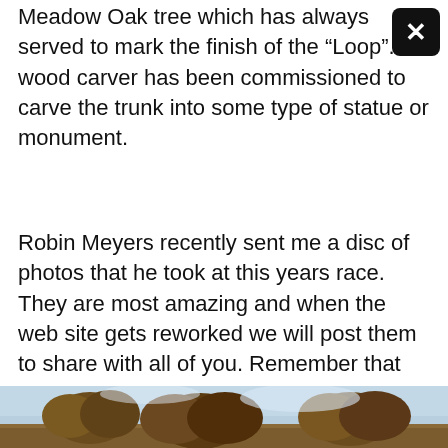Meadow Oak tree which has always served to mark the finish of the “Loop”. A wood carver has been commissioned to carve the trunk into some type of statue or monument.
Robin Meyers recently sent me a disc of photos that he took at this years race. They are most amazing and when the web site gets reworked we will post them to share with all of you. Remember that there will be no same day registration for all future “Loops” and entries will be capped at 1,000. Registration will open after January 1st. so sign up early if you plan to run.
Tony(former race director)
[Figure (photo): Outdoor photo showing trees and sky, partial view at bottom of page]